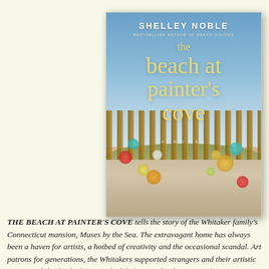[Figure (illustration): Book cover of 'The Beach at Painter's Cove' by Shelley Noble, bestselling author of Beach Colors. Cover shows a beach scene with a wooden fence, sea grass, sandy path, and colorful bokeh-style lights in the foreground against a blue sky.]
THE BEACH AT PAINTER'S COVE tells the story of the Whitaker family's Connecticut mansion, Muses by the Sea. The extravagant home has always been a haven for artists, a hotbed of creativity and the occasional scandal. Art patrons for generations, the Whitakers supported strangers and their artistic pursuits while slowly draining the life from each other. Now, after